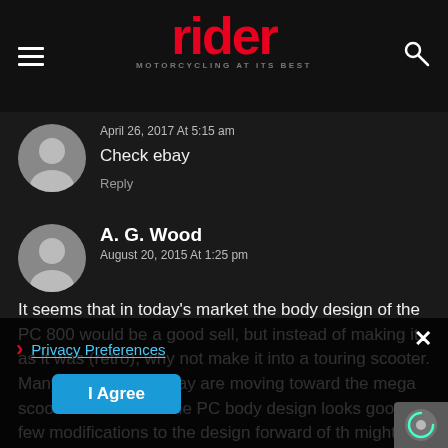rider — MOTORCYCLING AT ITS BEST
April 26, 2017 At 5:15 am
Check ebay
Reply
A. G. Wood
August 20, 2015 At 1:25 pm
It seems that in today's market the body design of the PC 800 would be a good sell, but instead of making it as it was (retro), why not make it into a touring scooter. Many older riders today are moving toward the mega scooter market and the PC body design looks good. A few modifications to the design forward of th might be acco The 800cc engin might have to be reduced to a 750cc with a
Privacy Preferences
I Agree